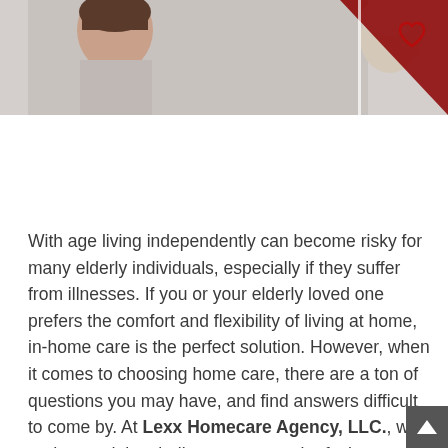[Figure (photo): A partial photo strip at the top of the page showing a caregiver (woman with hair pulled back) on the left side and an elderly person on the right, with a dark red triangular graphic element in the upper right corner.]
With age living independently can become risky for many elderly individuals, especially if they suffer from illnesses. If you or your elderly loved one prefers the comfort and flexibility of living at home, in-home care is the perfect solution. However, when it comes to choosing home care, there are a ton of questions you may have, and find answers difficult to come by. At Lexx Homecare Agency, LLC., we understand the challenge you may be facing,